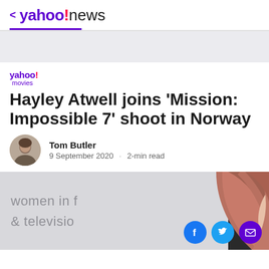< yahoo!news
[Figure (other): Advertisement banner placeholder gray area]
[Figure (logo): yahoo! movies logo]
Hayley Atwell joins 'Mission: Impossible 7' shoot in Norway
Tom Butler · 9 September 2020 · 2-min read
[Figure (photo): Hayley Atwell photo at women in film & television event, partial view of face and red/pink hair against gray background with event signage]
[Figure (other): Social sharing buttons: Facebook, Twitter, Email]